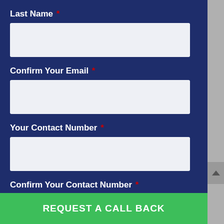Last Name *
Confirm Your Email *
Your Contact Number *
Confirm Your Contact Number *
REQUEST A CALL BACK